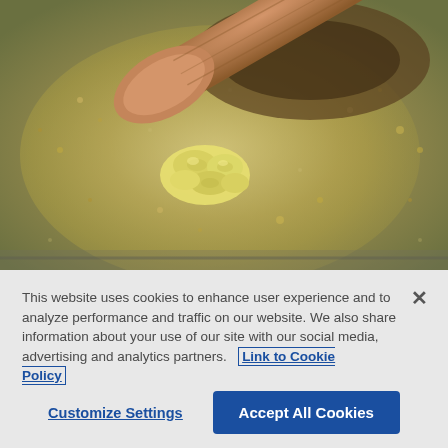[Figure (photo): Close-up photo of minced garlic sizzling in oil in a stainless steel pan, with a wooden spoon resting on the pan. The garlic is golden-yellow and surrounded by bubbling olive oil.]
This website uses cookies to enhance user experience and to analyze performance and traffic on our website. We also share information about your use of our site with our social media, advertising and analytics partners. Link to Cookie Policy
Customize Settings
Accept All Cookies